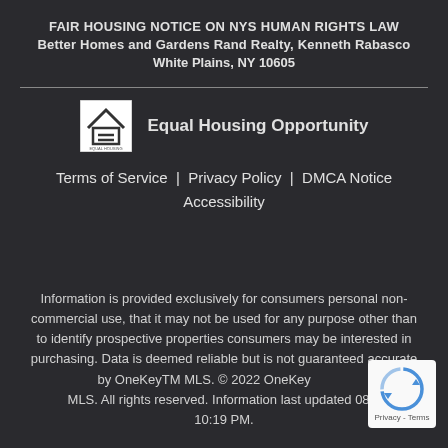FAIR HOUSING NOTICE ON NYS HUMAN RIGHTS LAW
Better Homes and Gardens Rand Realty, Kenneth Rabasco
White Plains, NY 10605
[Figure (logo): Equal Housing Opportunity logo — house outline with equal sign inside]
Equal Housing Opportunity
Terms of Service | Privacy Policy | DMCA Notice
Accessibility
Information is provided exclusively for consumers personal non-commercial use, that it may not be used for any purpose other than to identify prospective properties consumers may be interested in purchasing. Data is deemed reliable but is not guaranteed accurate by OneKeyTM MLS. © 2022 OneKey MLS. All rights reserved. Information last updated 08/1 10:19 PM.
[Figure (logo): reCAPTCHA badge with spinning arrows icon and Privacy - Terms text]